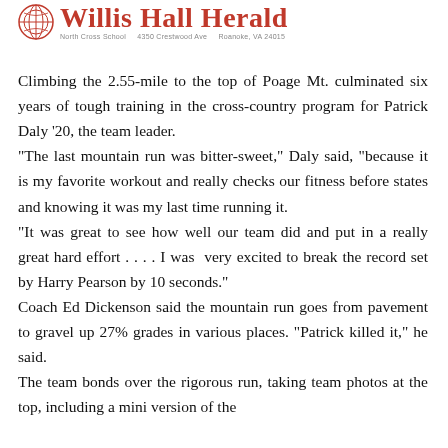Willis Hall Herald
Climbing the 2.55-mile to the top of Poage Mt. culminated six years of tough training in the cross-country program for Patrick Daly ‘20, the team leader. “The last mountain run was bitter-sweet,” Daly said, “because it is my favorite workout and really checks our fitness before states and knowing it was my last time running it. “It was great to see how well our team did and put in a really great hard effort . . . . I was very excited to break the record set by Harry Pearson by 10 seconds.” Coach Ed Dickenson said the mountain run goes from pavement to gravel up 27% grades in various places. “Patrick killed it,” he said. The team bonds over the rigorous run, taking team photos at the top, including a mini version of the